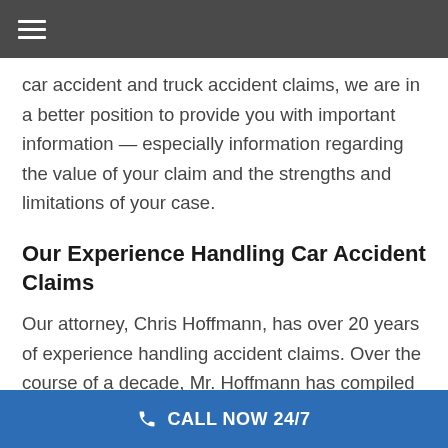≡
car accident and truck accident claims, we are in a better position to provide you with important information — especially information regarding the value of your claim and the strengths and limitations of your case.
Our Experience Handling Car Accident Claims
Our attorney, Chris Hoffmann, has over 20 years of experience handling accident claims. Over the course of a decade, Mr. Hoffmann has compiled an excellent track record of success in settlements and at trial,
CALL NOW 24/7